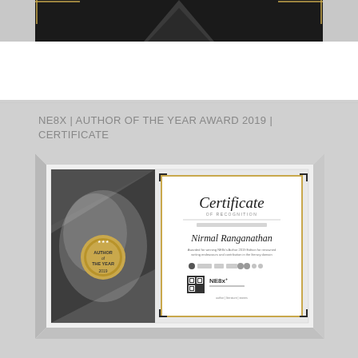[Figure (photo): Top portion of a framed certificate with dark/black background showing geometric decorative elements]
NE8X | AUTHOR OF THE YEAR AWARD 2019 | CERTIFICATE
[Figure (photo): Certificate of Recognition awarded to Nirmal Ranganathan for winning NE8x's Author 2019 Edition for renowned writing endeavours and contribution in the literary domain. Features NE8x logo, QR code, Author of the Year badge, and decorative geometric design.]